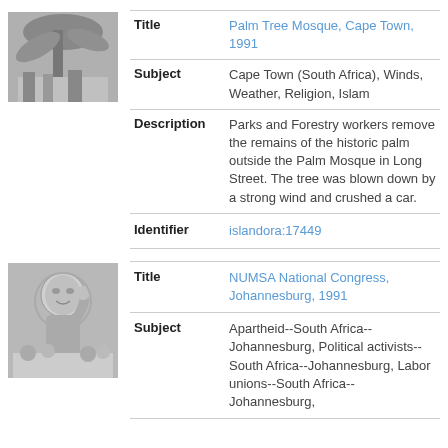[Figure (photo): Black and white thumbnail photo of palm tree remains outside Palm Tree Mosque]
| Title | Palm Tree Mosque, Cape Town, 1991 |
| Subject | Cape Town (South Africa), Winds, Weather, Religion, Islam |
| Description | Parks and Forestry workers remove the remains of the historic palm outside the Palm Mosque in Long Street. The tree was blown down by a strong wind and crushed a car. |
| Identifier | islandora:17449 |
[Figure (photo): Black and white thumbnail photo from NUMSA National Congress Johannesburg 1991]
| Title | NUMSA National Congress, Johannesburg, 1991 |
| Subject | Apartheid--South Africa--Johannesburg, Political activists--South Africa--Johannesburg, Labor unions--South Africa--Johannesburg, |